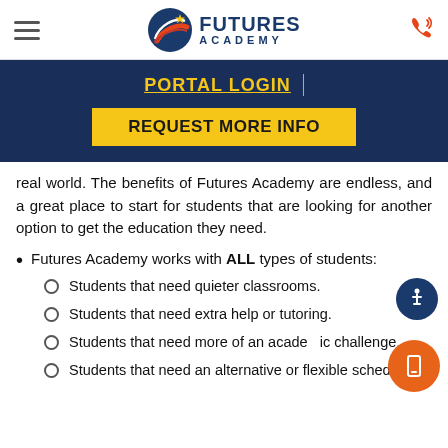Futures Academy — navigation header with hamburger menu, logo, and phone icon
PORTAL LOGIN
REQUEST MORE INFO
real world. The benefits of Futures Academy are endless, and a great place to start for students that are looking for another option to get the education they need.
Futures Academy works with ALL types of students:
Students that need quieter classrooms.
Students that need extra help or tutoring.
Students that need more of an academic challenge.
Students that need an alternative or flexible schedule.